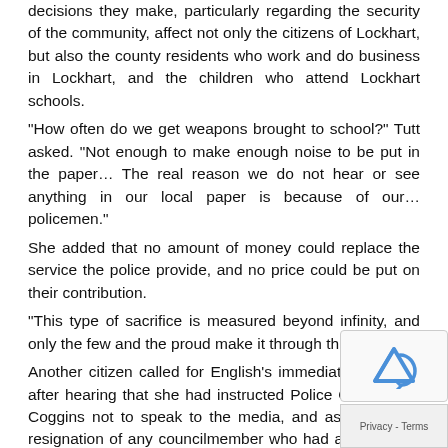decisions they make, particularly regarding the security of the community, affect not only the citizens of Lockhart, but also the county residents who work and do business in Lockhart, and the children who attend Lockhart schools.
“How often do we get weapons brought to school?” Tutt asked. “Not enough to make enough noise to be put in the paper… The real reason we do not hear or see anything in our local paper is because of our… policemen.”
She added that no amount of money could replace the service the police provide, and no price could be put on their contribution.
“This type of sacrifice is measured beyond infinity, and only the few and the proud make it through this training.”
Another citizen called for English’s immediate dismissal after hearing that she had instructed Police Chief Frank Coggins not to speak to the media, and asked for the resignation of any councilmember who had a part in the order.
Although the council assured the people that they h… heard, one member suggested that the presence of th… was, in a manner of speaking, too little too late.
“We went through [several] budget workshops with an e…